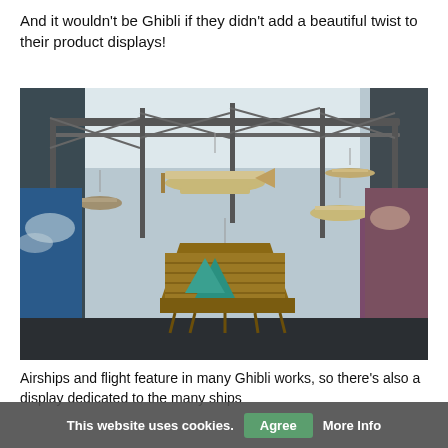And it wouldn't be Ghibli if they didn't add a beautiful twist to their product displays!
[Figure (photo): Indoor exhibition hall displaying numerous hanging models of airships, biplanes, and fantasy flying craft suspended from metal truss scaffolding. Large illustrated murals line the walls. A large wooden ship model dominates the center foreground.]
Airships and flight feature in many Ghibli works, so there's also a display dedicated to the many ships
This website uses cookies. Agree More Info